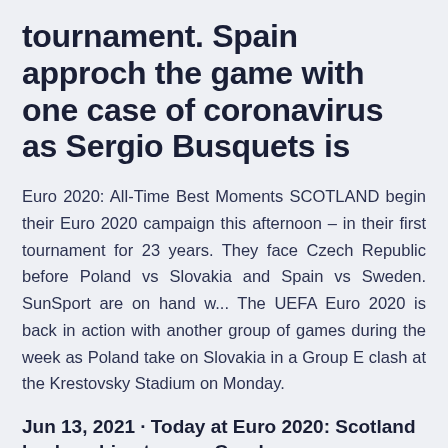tournament. Spain approch the game with one case of coronavirus as Sergio Busquets is
Euro 2020: All-Time Best Moments SCOTLAND begin their Euro 2020 campaign this afternoon – in their first tournament for 23 years. They face Czech Republic before Poland vs Slovakia and Spain vs Sweden. SunSport are on hand w... The UEFA Euro 2020 is back in action with another group of games during the week as Poland take on Slovakia in a Group E clash at the Krestovsky Stadium on Monday.
Jun 13, 2021 · Today at Euro 2020: Scotland back on big stage vs Czech